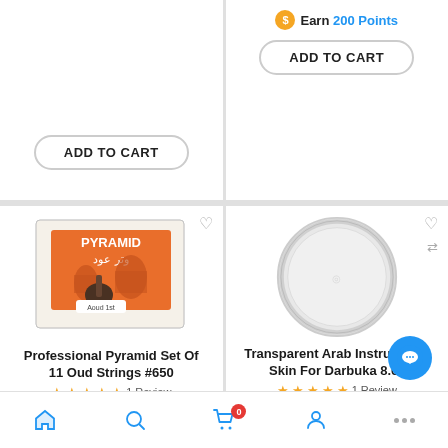[Figure (screenshot): Top-left product card partial: ADD TO CART button]
[Figure (screenshot): Top-right product card partial: Earn 200 Points and ADD TO CART button]
[Figure (photo): Pyramid Professional Set Of 11 Oud Strings #650 product image]
Professional Pyramid Set Of 11 Oud Strings #650
★★★★★ 1 Review
$42.00
Earn 100 Points
[Figure (photo): Transparent Arab Instruments Skin For Darbuka 8.6 inch product image]
Transparent Arab Instruments Skin For Darbuka 8.6"
★★★★★ 1 Review
$35.00
Earn 300 Points
Home | Search | Cart (0) | Account | Chat | ...